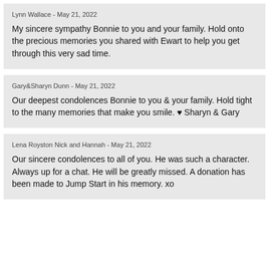Lynn Wallace - May 21, 2022
My sincere sympathy Bonnie to you and your family. Hold onto the precious memories you shared with Ewart to help you get through this very sad time.
Gary&Sharyn Dunn - May 21, 2022
Our deepest condolences Bonnie to you & your family. Hold tight to the many memories that make you smile. ♥ Sharyn & Gary
Lena Royston Nick and Hannah - May 21, 2022
Our sincere condolences to all of you. He was such a character. Always up for a chat. He will be greatly missed. A donation has been made to Jump Start in his memory. xo